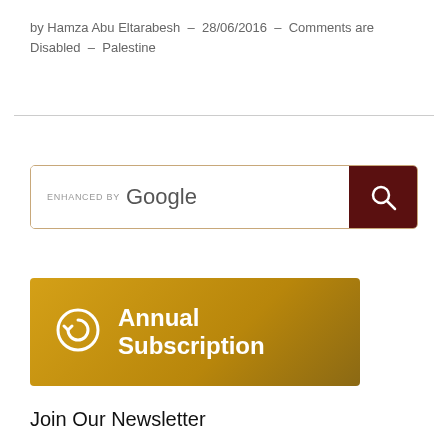by Hamza Abu Eltarabesh — 28/06/2016 — Comments are Disabled — Palestine
[Figure (screenshot): Google search bar with 'ENHANCED BY Google' text and dark red search button with magnifying glass icon]
[Figure (infographic): Annual Subscription banner with gold/yellow gradient background, clock/refresh icon, and bold white text reading 'Annual Subscription']
Join Our Newsletter